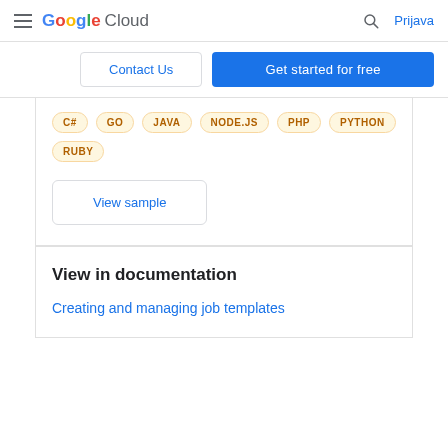Google Cloud  Prijava
Contact Us
Get started for free
C#  GO  JAVA  NODE.JS  PHP  PYTHON  RUBY
View sample
View in documentation
Creating and managing job templates